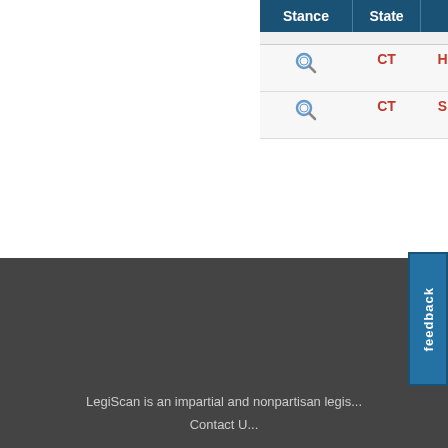| Stance | State | Bill | St... |
| --- | --- | --- | --- |
| [icon] | CT | HB05277 | Int...
Si... |
| [icon] | CT | SB00249 | Int...
Si... |
LegiScan is an impartial and nonpartisan legis... Contact U...